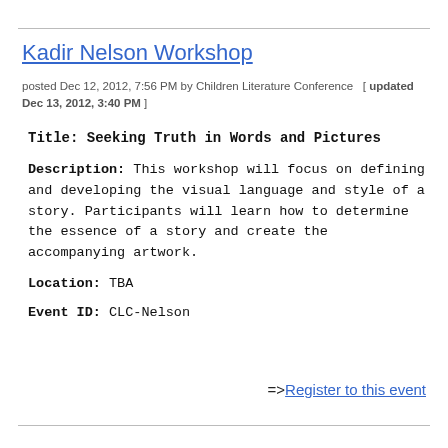Kadir Nelson Workshop
posted Dec 12, 2012, 7:56 PM by Children Literature Conference  [ updated Dec 13, 2012, 3:40 PM ]
Title: Seeking Truth in Words and Pictures
Description: This workshop will focus on defining and developing the visual language and style of a story. Participants will learn how to determine the essence of a story and create the accompanying artwork.
Location: TBA
Event ID: CLC-Nelson
=>Register to this event